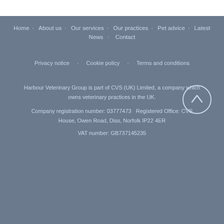Home · About us · Our services · Our practices · Pet advice · Latest
News · Contact
Privacy notice · Cookie policy · Terms and conditions
Harbour Veterinary Group is part of CVS (UK) Limited, a company which owns veterinary practices in the UK.
Company registration number: 03777473   Registered Office: CVS House, Owen Road, Diss, Norfolk IP22 4ER
VAT number: GB737145235